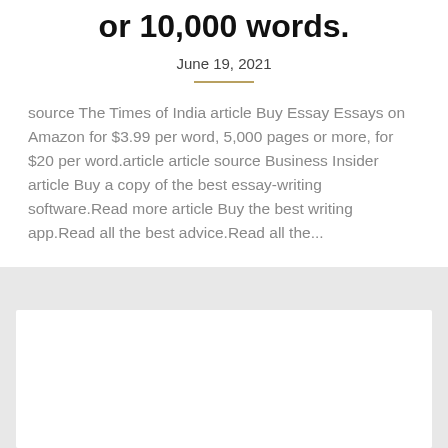or 10,000 words.
June 19, 2021
source The Times of India article Buy Essay Essays on Amazon for $3.99 per word, 5,000 pages or more, for $20 per word.article article source Business Insider article Buy a copy of the best essay-writing software.Read more article Buy the best writing app.Read all the best advice.Read all the...